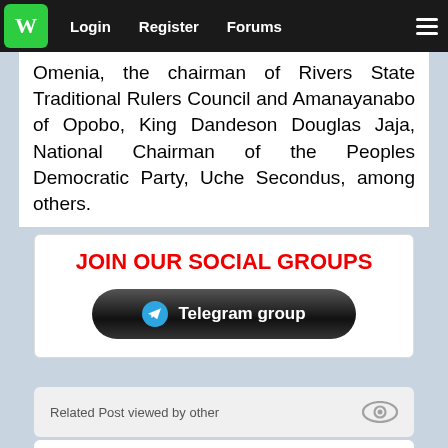W | Login | Register | Forums | ☰
Omenia, the chairman of Rivers State Traditional Rulers Council and Amanayanabo of Opobo, King Dandeson Douglas Jaja, National Chairman of the Peoples Democratic Party, Uche Secondus, among others.
JOIN OUR SOCIAL GROUPS
[Figure (other): Telegram group button with icon]
Related Post viewed by other